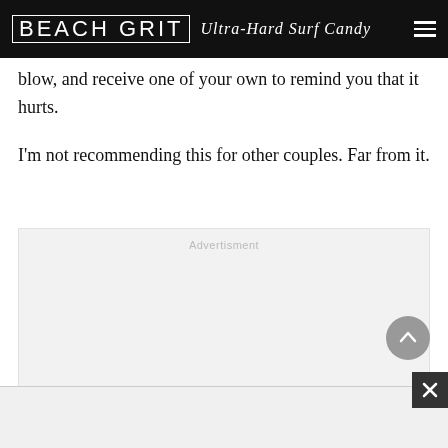BEACH GRIT Ultra-Hard Surf Candy
blow, and receive one of your own to remind you that it hurts.
I’m not recommending this for other couples. Far from it.
[Figure (other): Advertisement placeholder box with label 'Advertisment' in light gray text on a gray background]
[Figure (other): Bottom banner advertisement area with close (X) button in dark square at bottom right]